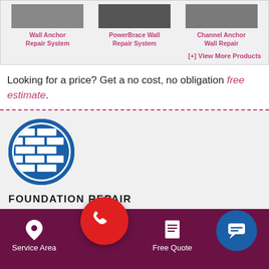[Figure (other): Product thumbnails for Wall Anchor Repair System, PowerBrace Wall Repair System, and Channel Anchor Wall Repair in a gray panel]
Wall Anchor Repair System
PowerBrace Wall Repair System
Channel Anchor Wall Repair
[+] View More Products
Looking for a price? Get a no cost, no obligation free estimate.
[Figure (logo): Blue circular foundation/brick wall logo icon]
FOUNDATION REPAIR
[Figure (other): Bottom navigation bar with Service Area, phone call button, Free Quote, and chat icon on dark purple background]